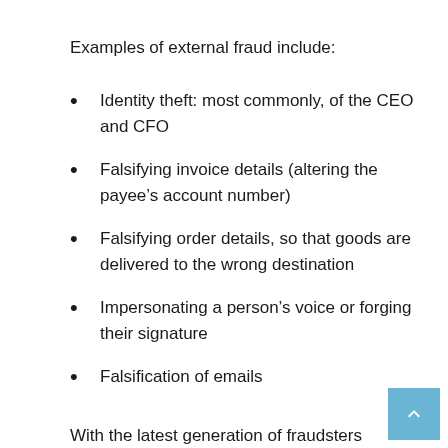Examples of external fraud include:
Identity theft: most commonly, of the CEO and CFO
Falsifying invoice details (altering the payee’s account number)
Falsifying order details, so that goods are delivered to the wrong destination
Impersonating a person’s voice or forging their signature
Falsification of emails
With the latest generation of fraudsters